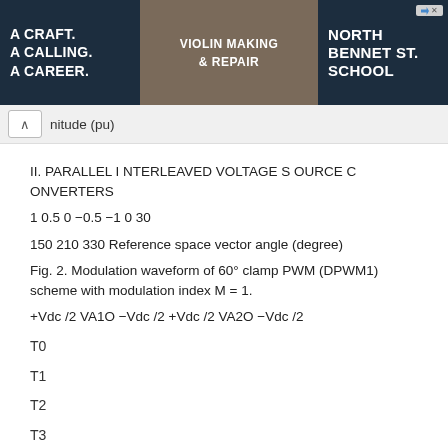[Figure (photo): Advertisement banner for North Bennet St. School featuring text 'A Craft. A Calling. A Career.' with violin making & repair image and school logo.]
nitude (pu)
II. PARALLEL INTERLEAVED VOLTAGE SOURCE CONVERTERS
1 0.5 0 −0.5 −1 0 30
150 210 330 Reference space vector angle (degree)
Fig. 2. Modulation waveform of 60° clamp PWM (DPWM1) scheme with modulation index M = 1.
+Vdc /2 VA1O −Vdc /2 +Vdc /2 VA2O −Vdc /2
T0
T1
T2
T3